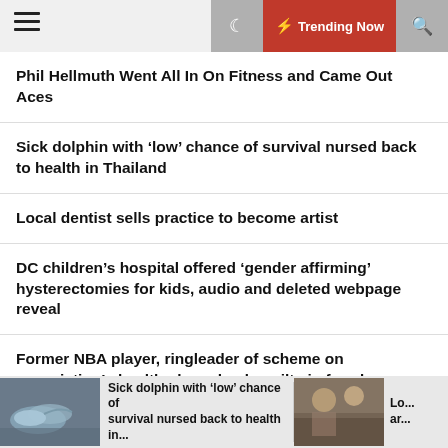☰ 🌙 ⚡ Trending Now 🔍
Phil Hellmuth Went All In On Fitness and Came Out Aces
Sick dolphin with 'low' chance of survival nursed back to health in Thailand
Local dentist sells practice to become artist
DC children's hospital offered 'gender affirming' hysterectomies for kids, audio and deleted webpage reveal
Former NBA player, ringleader of scheme on association's health plan, pleads guilty in fraud case
[Figure (photo): Thumbnail image of a dolphin]
Sick dolphin with 'low' chance of survival nursed back to health in...
[Figure (photo): Thumbnail image of people]
Lo... ar...